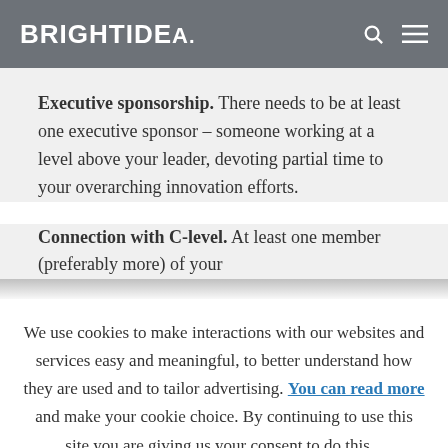BRIGHTIDEA.
Executive sponsorship. There needs to be at least one executive sponsor – someone working at a level above your leader, devoting partial time to your overarching innovation efforts.
Connection with C-level. At least one member (preferably more) of your
We use cookies to make interactions with our websites and services easy and meaningful, to better understand how they are used and to tailor advertising. You can read more and make your cookie choice. By continuing to use this site you are giving us your consent to do this. Accept